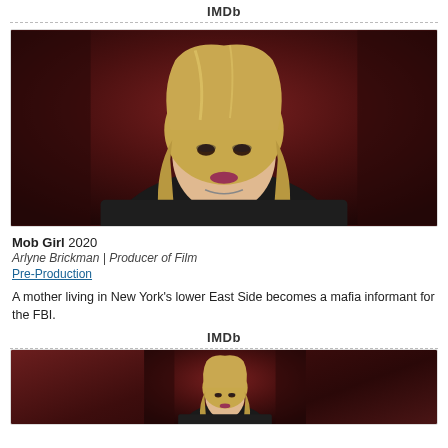IMDb
[Figure (photo): Portrait photo of a blonde woman in dark clothing against a dark red/brown background]
Mob Girl 2020
Arlyne Brickman | Producer of Film
Pre-Production
A mother living in New York's lower East Side becomes a mafia informant for the FBI.
IMDb
[Figure (photo): Same portrait photo of a blonde woman, partially visible (cropped at bottom of page)]